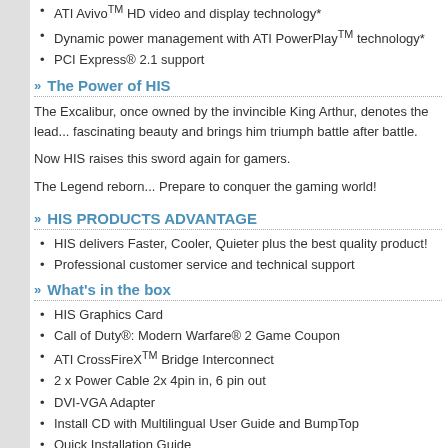ATI Avivo TM HD video and display technology*
Dynamic power management with ATI PowerPlay TM technology*
PCI Express® 2.1 support
The Power of HIS
The Excalibur, once owned by the invincible King Arthur, denotes the lead... fascinating beauty and brings him triumph battle after battle.
Now HIS raises this sword again for gamers.
The Legend reborn... Prepare to conquer the gaming world!
HIS PRODUCTS ADVANTAGE
HIS delivers Faster, Cooler, Quieter plus the best quality product!
Professional customer service and technical support
What's in the box
HIS Graphics Card
Call of Duty®: Modern Warfare® 2 Game Coupon
ATI CrossFireX TM Bridge Interconnect
2 x Power Cable 2x 4pin in, 6 pin out
DVI-VGA Adapter
Install CD with Multilingual User Guide and BumpTop
Quick Installation Guide
HIS Power Up Label